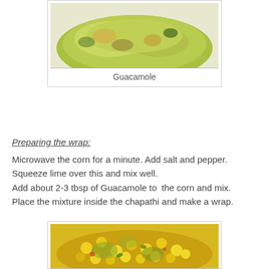[Figure (photo): Close-up photo of guacamole – green avocado dip spread on a surface]
Guacamole
Preparing the wrap:
Microwave the corn for a minute. Add salt and pepper. Squeeze lime over this and mix well.
Add about 2-3 tbsp of Guacamole to  the corn and mix.
Place the mixture inside the chapathi and make a wrap.
[Figure (photo): Close-up photo of corn kernels mixed with guacamole in a bowl]